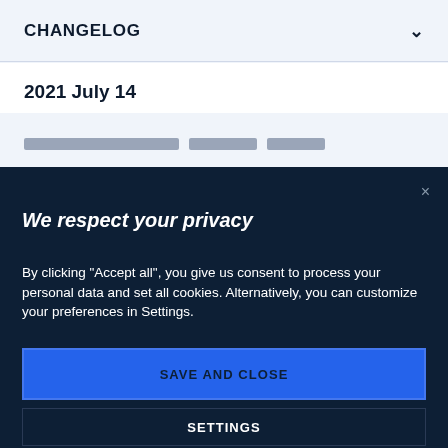CHANGELOG
2021 July 14
We respect your privacy
By clicking "Accept all", you give us consent to process your personal data and set all cookies. Alternatively, you can customize your preferences in Settings.
SAVE AND CLOSE
SETTINGS